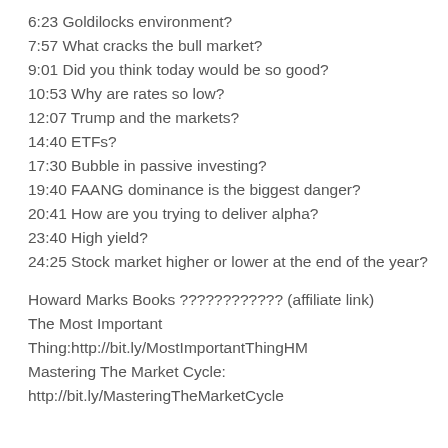6:23 Goldilocks environment?
7:57 What cracks the bull market?
9:01 Did you think today would be so good?
10:53 Why are rates so low?
12:07 Trump and the markets?
14:40 ETFs?
17:30 Bubble in passive investing?
19:40 FAANG dominance is the biggest danger?
20:41 How are you trying to deliver alpha?
23:40 High yield?
24:25 Stock market higher or lower at the end of the year?
Howard Marks Books ???????????? (affiliate link)
The Most Important Thing:http://bit.ly/MostImportantThingHM
Mastering The Market Cycle:
http://bit.ly/MasteringTheMarketCycle